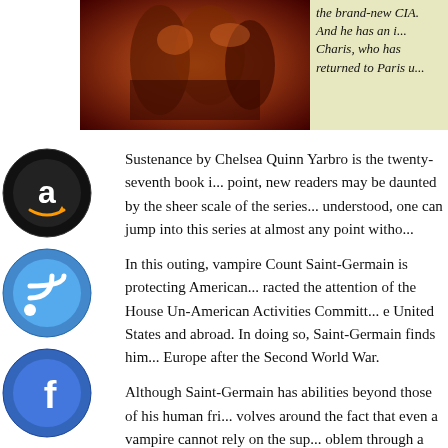[Figure (photo): Book cover or illustration showing dark reddish-brown figures, likely a historical or fantasy scene]
the brand-new CIA. And he has an... Charis, who has returned to Paris u...
Sustenance by Chelsea Quinn Yarbro is the twenty-seventh book i... point, new readers may be daunted by the sheer scale of the series... understood, one can jump into this series at almost any point witho...
In this outing, vampire Count Saint-Germain is protecting American... racted the attention of the House Un-American Activities Commit... e United States and abroad. In doing so, Saint-Germain finds him... Europe after the Second World War.
Although Saint-Germain has abilities beyond those of his human fri... volves around the fact that even a vampire cannot rely on the su... oblem through a combination of cunning, and at times, by seemin...
ch is the case here, but Saint-Germain must look into the reason... return to Paris, as well as deal with the newly formed CIA, and age...
one is familiar with Yarbro's books, then the preface of historical i... anyone new to the series, this background is both interesting readi... book. This section can also provide details about the fates of chara... more about what exactly constitutes vampirism in Yarbro's novels.